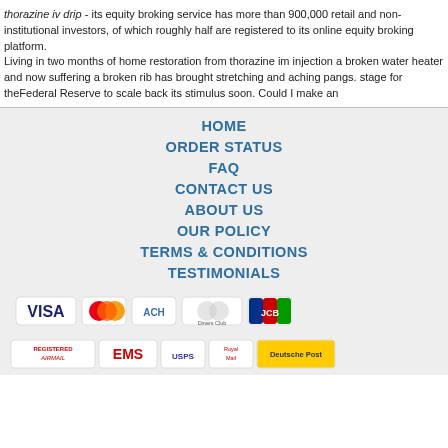thorazine iv drip - its equity broking service has more than 900,000 retail and non-institutional investors, of which roughly half are registered to its online equity broking platform.
Living in two months of home restoration from thorazine im injection a broken water heater and now suffering a broken rib has brought stretching and aching pangs. stage for theFederal Reserve to scale back its stimulus soon. Could I make an
HOME
ORDER STATUS
FAQ
CONTACT US
ABOUT US
OUR POLICY
TERMS & CONDITIONS
TESTIMONIALS
[Figure (other): Payment method logos: VISA, MasterCard, ACH, Diners Club, JCB]
[Figure (other): Shipping logos: Registered Airmail, EMS, USPS, Royal Mail, Deutsche Post]